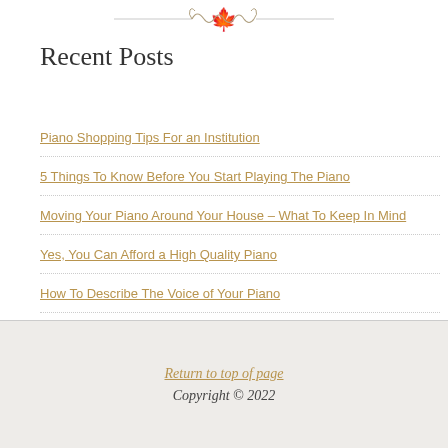[Figure (illustration): Decorative ornamental divider with scroll/flourish design at top of main content area]
Recent Posts
Piano Shopping Tips For an Institution
5 Things To Know Before You Start Playing The Piano
Moving Your Piano Around Your House – What To Keep In Mind
Yes, You Can Afford a High Quality Piano
How To Describe The Voice of Your Piano
Return to top of page
Copyright © 2022